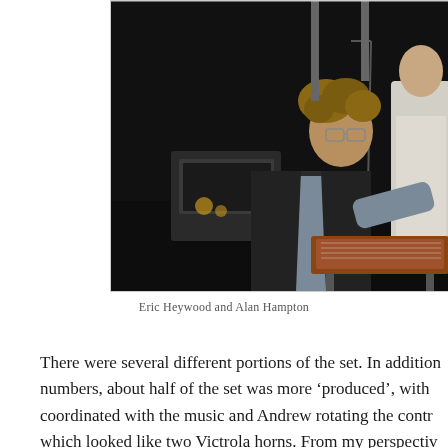[Figure (photo): Concert performance photo showing two musicians on a dark stage. Center figure is a curly-haired man wearing glasses and a dark vest, leaning over and playing what appears to be a pedal steel guitar or keyboard instrument. A second figure in a white shirt is visible on the right side. Stage lights and a guitar amplifier are visible in the background.]
Eric Heywood and Alan Hampton
There were several different portions of the set. In addition numbers, about half of the set was more ‘produced’, with coordinated with the music and Andrew rotating the contr which looked like two Victrola horns. From my perspectiv